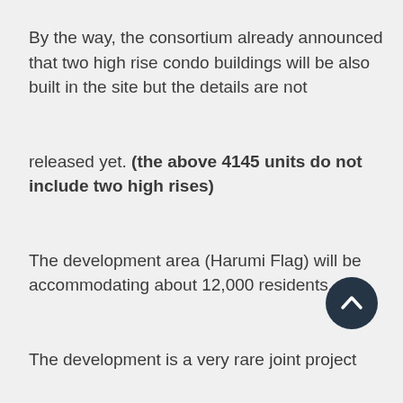By the way, the consortium already announced that two high rise condo buildings will be also built in the site but the details are not

released yet. (the above 4145 units do not include two high rises)

The development area (Harumi Flag) will be accommodating about 12,000 residents.

The development is a very rare joint project